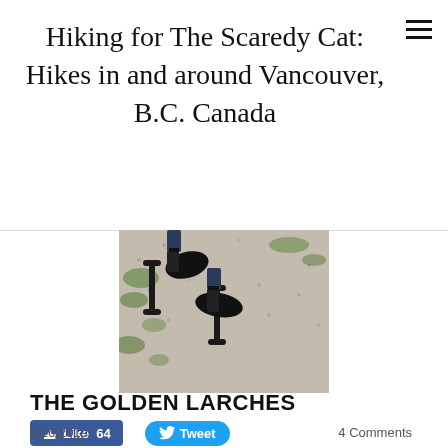Hiking for The Scaredy Cat: Hikes in and around Vancouver, B.C. Canada
[Figure (photo): Close-up photo of person's feet in black sneakers on a rocky granite-like surface with patches of green lichen/moss]
[Figure (screenshot): Facebook Like button showing 64 likes and Twitter Tweet button]
3 Comments
THE GOLDEN LARCHES
9/16/2019
4 Comments